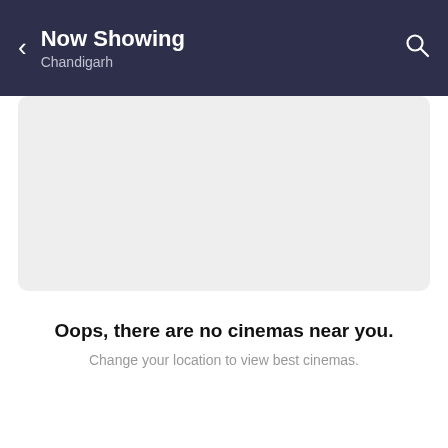Now Showing
Chandigarh
[Figure (other): Empty grey card area representing no cinema listings]
Oops, there are no cinemas near you.
Change your location to view best cinemas.
Change Region